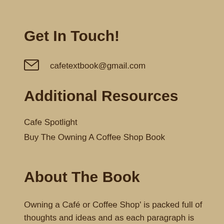Get In Touch!
cafetextbook@gmail.com
Additional Resources
Cafe Spotlight
Buy The Owning A Coffee Shop Book
About The Book
Owning a Café or Coffee Shop' is packed full of thoughts and ideas and as each paragraph is read, it will only improve one's knowledge of what can be an exciting